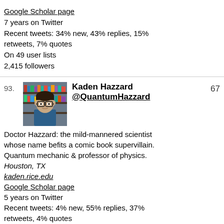Google Scholar page
7 years on Twitter
Recent tweets: 34% new, 43% replies, 15% retweets, 7% quotes
On 49 user lists
2,415 followers
93. Kaden Hazzard @QuantumHazzard 67
Doctor Hazzard: the mild-mannered scientist whose name befits a comic book supervillain. Quantum mechanic & professor of physics.
Houston, TX
kaden.rice.edu
Google Scholar page
5 years on Twitter
Recent tweets: 4% new, 55% replies, 37% retweets, 4% quotes
On 33 user lists
1,835 followers
94. Darren Price @darrenprice 67
Particle physicist @OfficialUoM, #CERN/ATLAS. Dark matter hunter, quantum sensors, #AI. Turing Fellow @turinginst. Explorer. Go science!